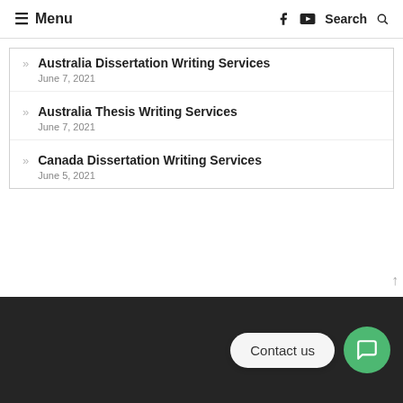Menu | f | Search
Australia Dissertation Writing Services
June 7, 2021
Australia Thesis Writing Services
June 7, 2021
Canada Dissertation Writing Services
June 5, 2021
Contact us